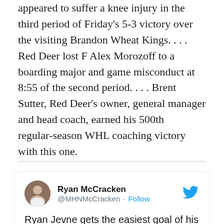appeared to suffer a knee injury in the third period of Friday's 5-3 victory over the visiting Brandon Wheat Kings. . . . Red Deer lost F Alex Morozoff to a boarding major and game misconduct at 8:55 of the second period. . . . Brent Sutter, Red Deer's owner, general manager and head coach, earned his 500th regular-season WHL coaching victory with this one.
[Figure (screenshot): Embedded tweet from Ryan McCracken (@MHNMcCracken) with a Follow button and Twitter bird logo. Tweet text: 'Ryan Jevne gets the easiest goal of his career to make it 3-1 Tigers, he puts it down the ice from his own end and the']